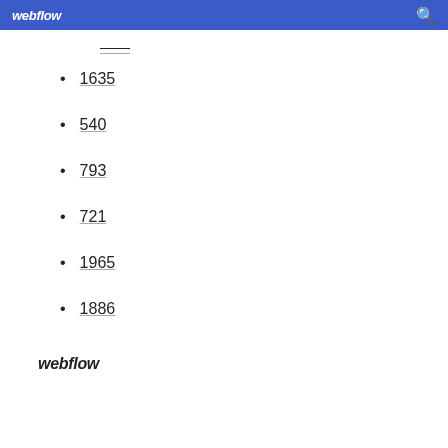webflow
1635
540
793
721
1965
1886
webflow